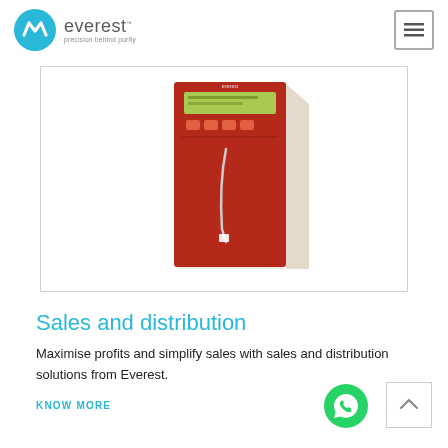everest — precision behind purity
[Figure (photo): Electronic device — red rack-mounted unit with LCD display and control buttons, Everest branded]
Sales and distribution
Maximise profits and simplify sales with sales and distribution solutions from Everest.
KNOW MORE